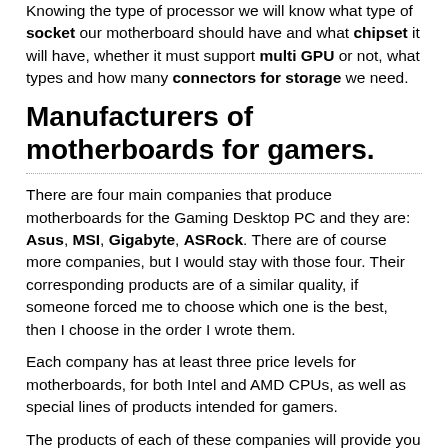Knowing the type of processor we will know what type of socket our motherboard should have and what chipset it will have, whether it must support multi GPU or not, what types and how many connectors for storage we need.
Manufacturers of motherboards for gamers.
There are four main companies that produce motherboards for the Gaming Desktop PC and they are: Asus, MSI, Gigabyte, ASRock. There are of course more companies, but I would stay with those four. Their corresponding products are of a similar quality, if someone forced me to choose which one is the best, then I choose in the order I wrote them.
Each company has at least three price levels for motherboards, for both Intel and AMD CPUs, as well as special lines of products intended for gamers.
The products of each of these companies will provide you with the same price to quality and stability from Gaming